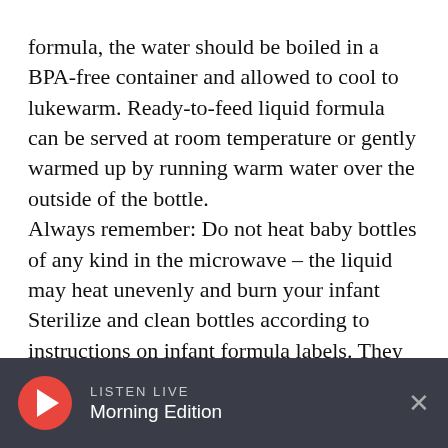formula, the water should be boiled in a BPA-free container and allowed to cool to lukewarm. Ready-to-feed liquid formula can be served at room temperature or gently warmed up by running warm water over the outside of the bottle. Always remember: Do not heat baby bottles of any kind in the microwave – the liquid may heat unevenly and burn your infant Sterilize and clean bottles according to instructions on infant formula labels. They should be left to cool to room temperature before adding infant formula.
LISTEN LIVE Morning Edition